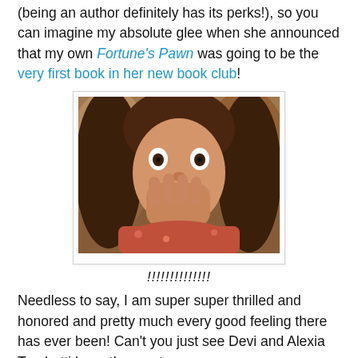(being an author definitely has its perks!), so you can imagine my absolute glee when she announced that my own Fortune's Pawn was going to be the very first book in her new book club!
[Figure (photo): A young woman with long brown hair covering her mouth with her hand in a gesture of surprise or shock. She is wearing a floral top. The image has a white border and is displayed with a light box-shadow.]
!!!!!!!!!!!!!!
Needless to say, I am super super thrilled and honored and pretty much every good feeling there has ever been! Can't you just see Devi and Alexia Tarabotti have the most